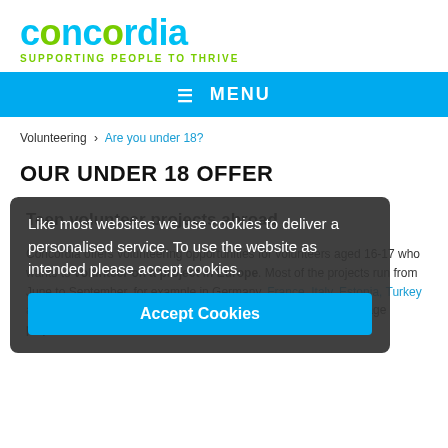concordia SUPPORTING PEOPLE TO THRIVE
≡ MENU
Volunteering > Are you under 18?
OUR UNDER 18 OFFER
Like most websites we use cookies to deliver a personalised service. To use the website as intended please accept cookies.
Accept Cookies
Teen volunteer projects abroad
Concordia offers volunteering opportunities for volunteers aged 16-17 who wants to volunteer on a project in Europe. Most of the projects run from June to September, for example in Germany, France, Italy, Estonia, Turkey and few more destinations. There are two different forms of teenage projects, but all of them are